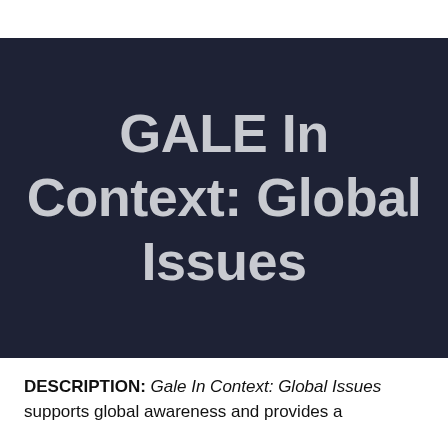GALE In Context: Global Issues
DESCRIPTION: Gale In Context: Global Issues supports global awareness and provides a